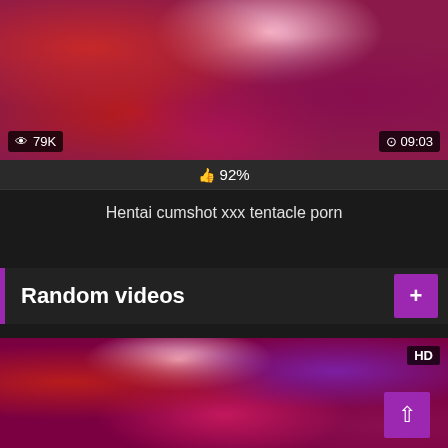[Figure (screenshot): Anime/hentai illustration thumbnail with view count 79K and duration 09:03]
92%
Hentai cumshot xxx tentacle porn
Random videos
[Figure (screenshot): Anime/hentai illustration thumbnail marked HD with scroll-to-top button]